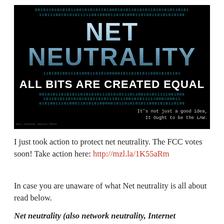[Figure (illustration): Black background image with binary code rows, large text 'NET NEUTRALITY' in blue gradient, subtitle 'ALL BITS ARE CREATED EQUAL' in white, tagline 'It's not just a good idea. It Ought to be the LAW.']
I just took action to protect net neutrality. The FCC votes soon! Take action here: http://mzl.la/1K55aRm
In case you are unaware of what Net neutrality is all about read below.
Net neutrality (also network neutrality, Internet